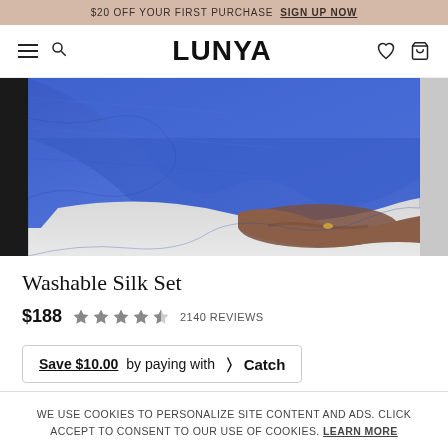$20 OFF YOUR FIRST PURCHASE SIGN UP NOW
LUNYA
[Figure (photo): A woman wearing a blue washable silk set, lying on a light grey surface with her hand resting flat. The image shows a close-up of the blue silky fabric and her hand with a ring.]
Washable Silk Set
$188  ★★★★½  2140 REVIEWS
Save $10.00 by paying with ) Catch
WE USE COOKIES TO PERSONALIZE SITE CONTENT AND ADS. CLICK ACCEPT TO CONSENT TO OUR USE OF COOKIES. LEARN MORE
ACCEPT